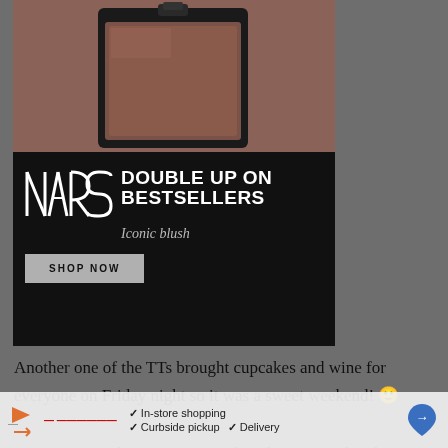[Figure (photo): NARS cosmetics advertisement showing a compact blush product on a brown/mauve background, with a black banner overlay reading 'DOUBLE UP ON BESTSELLERS — Iconic blush' and a 'SHOP NOW' button]
Another one of the TTs brought cupcakes and wine for everyone on Friday night so it was a sweet weekend! 🙂
I am enjoying this group so much and every weekend gets better and better as we all get to know each other on a deeper level and find ourselves comfortable in the training environment with
✓ In-store shopping  ✓ Curbside pickup  ✓ Delivery